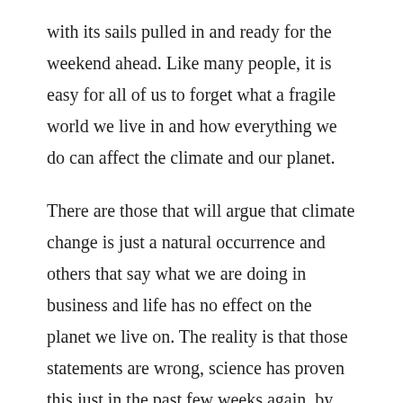with its sails pulled in and ready for the weekend ahead. Like many people, it is easy for all of us to forget what a fragile world we live in and how everything we do can affect the climate and our planet.
There are those that will argue that climate change is just a natural occurrence and others that say what we are doing in business and life has no effect on the planet we live on. The reality is that those statements are wrong, science has proven this just in the past few weeks again, by taking a long look globally at the past few thousand years and identifying that this is the first time in our planets